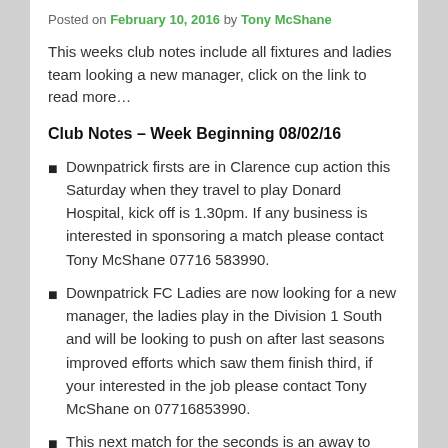Posted on February 10, 2016 by Tony McShane
This weeks club notes include all fixtures and ladies team looking a new manager, click on the link to read more…
Club Notes – Week Beginning 08/02/16
Downpatrick firsts are in Clarence cup action this Saturday when they travel to play Donard Hospital, kick off is 1.30pm. If any business is interested in sponsoring a match please contact Tony McShane 07716 583990.
Downpatrick FC Ladies are now looking for a new manager, the ladies play in the Division 1 South and will be looking to push on after last seasons improved efforts which saw them finish third, if your interested in the job please contact Tony McShane on 07716853990.
This next match for the seconds is an away to Carryduff Colts at Lough Moss playing fields, this match kicks off at 2.00pm.